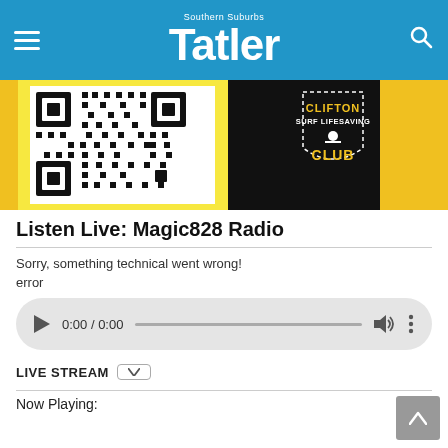Southern Suburbs Tatler
[Figure (photo): Partial image showing a QR code on the left with yellow and black border, and a Clifton Surf Lifesaving Club logo/badge on the right on a black background]
Listen Live: Magic828 Radio
Sorry, something technical went wrong!
error
[Figure (screenshot): Audio player control bar showing play button, time 0:00 / 0:00, progress bar, volume icon, and more options icon, on a light gray rounded pill background]
LIVE STREAM
Now Playing: